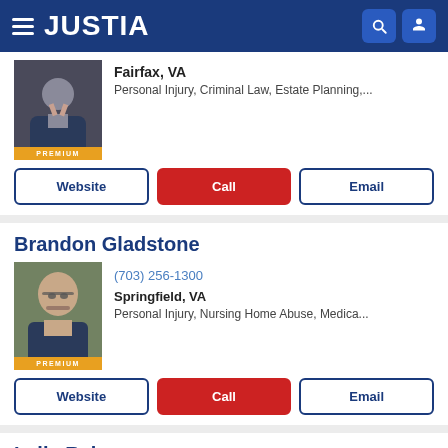JUSTIA
[Figure (photo): Attorney photo with PREMIUM badge - first listing (Fairfax VA)]
Fairfax, VA
Personal Injury, Criminal Law, Estate Planning,...
Website | Call | Email
Brandon Gladstone
[Figure (photo): Photo of Brandon Gladstone with PREMIUM badge]
(703) 256-1300
Springfield, VA
Personal Injury, Nursing Home Abuse, Medica...
Website | Call | Email
Laila Raheen
[Figure (photo): Photo of Laila Raheen (partial)]